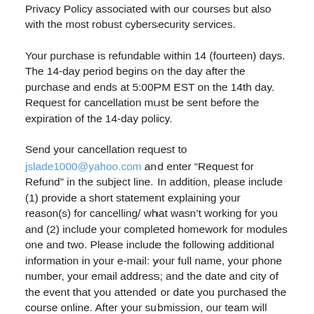Privacy Policy associated with our courses but also with the most robust cybersecurity services.
Your purchase is refundable within 14 (fourteen) days. The 14-day period begins on the day after the purchase and ends at 5:00PM EST on the 14th day. Request for cancellation must be sent before the expiration of the 14-day policy.
Send your cancellation request to jslade1000@yahoo.com and enter “Request for Refund” in the subject line. In addition, please include (1) provide a short statement explaining your reason(s) for cancelling/ what wasn’t working for you and (2) include your completed homework for modules one and two. Please include the following additional information in your e-mail: your full name, your phone number, your email address; and the date and city of the event that you attended or date you purchased the course online. After your submission, our team will review your cancellation request and will contact you with additional instructions on how to complete the return process.